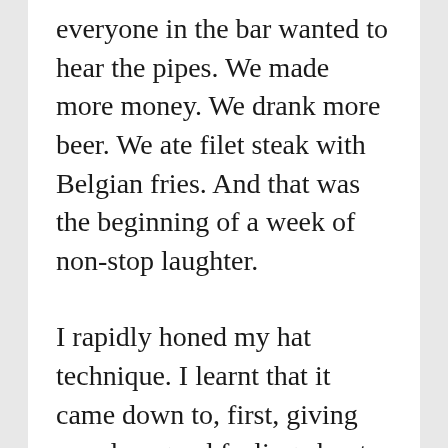everyone in the bar wanted to hear the pipes. We made more money. We drank more beer. We ate filet steak with Belgian fries. And that was the beginning of a week of non-stop laughter.
I rapidly honed my hat technique. I learnt that it came down to, first, giving people a good feeling about putting their hand in their pocket or handbag for change they wouldn't miss and, second, being right in front of them at the critical moment. If the